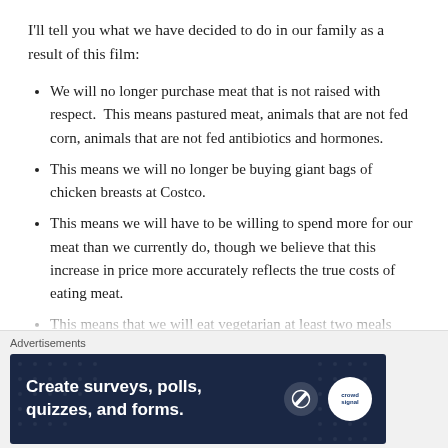I'll tell you what we have decided to do in our family as a result of this film:
We will no longer purchase meat that is not raised with respect.  This means pastured meat, animals that are not fed corn, animals that are not fed antibiotics and hormones.
This means we will no longer be buying giant bags of chicken breasts at Costco.
This means we will have to be willing to spend more for our meat than we currently do, though we believe that this increase in price more accurately reflects the true costs of eating meat.
This means that we will eat vegetarian at least two meals
[Figure (screenshot): Advertisement banner with dark navy background showing 'Create surveys, polls, quizzes, and forms.' with WordPress and SurveyMonkey/CrowdSignal logos on the right.]